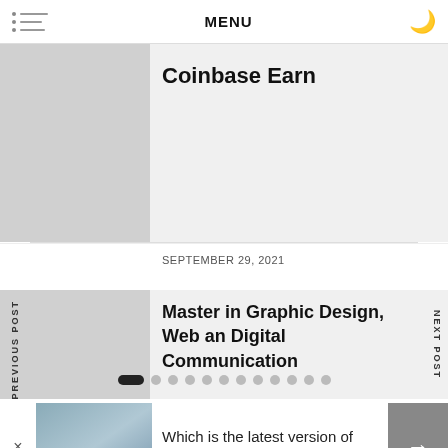MENU
Coinbase Earn
SEPTEMBER 29, 2021
Master in Graphic Design, Web and Digital Communication
[Figure (screenshot): Slider card with image of a person in front of a building with text overlay 'Which is the latest version of SAFe Agilist Certification?']
Which is the latest version of SAFe Agilist Certification?